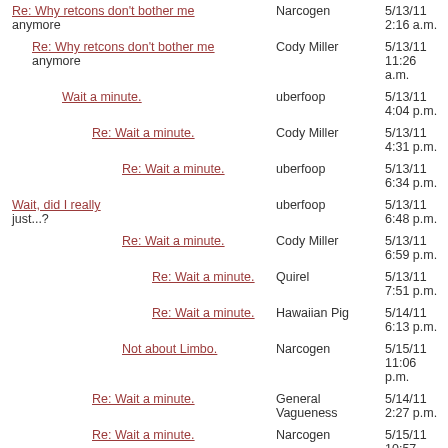Re: Why retcons don't bother me anymore | Narcogen | 5/13/11 2:16 a.m.
Re: Why retcons don't bother me anymore | Cody Miller | 5/13/11 11:26 a.m.
Wait a minute. | uberfoop | 5/13/11 4:04 p.m.
Re: Wait a minute. | Cody Miller | 5/13/11 4:31 p.m.
Re: Wait a minute. | uberfoop | 5/13/11 6:34 p.m.
Wait, did I really just...? | uberfoop | 5/13/11 6:48 p.m.
Re: Wait a minute. | Cody Miller | 5/13/11 6:59 p.m.
Re: Wait a minute. | Quirel | 5/13/11 7:51 p.m.
Re: Wait a minute. | Hawaiian Pig | 5/14/11 6:13 p.m.
Not about Limbo. | Narcogen | 5/15/11 11:06 p.m.
Re: Wait a minute. | General Vagueness | 5/14/11 2:27 p.m.
Re: Wait a minute. | Narcogen | 5/15/11 10:57